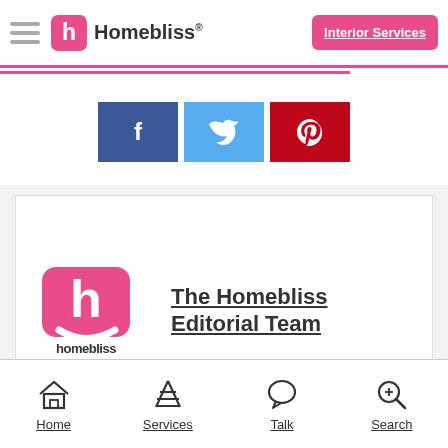Homebliss® | Interior Services
[Figure (logo): Homebliss logo with pink square icon containing letter h and text Homebliss]
[Figure (other): Social share buttons: Facebook (blue), Twitter (light blue), Pinterest (red)]
[Figure (logo): The Homebliss Editorial Team author card with Homebliss logo on left and author name link on right]
The Homebliss Editorial Team
Home | Services | Talk | Search